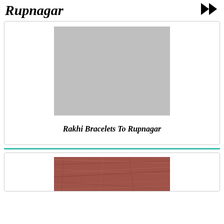Rupnagar
[Figure (photo): Gray placeholder rectangle representing a product image for Rakhi Bracelets]
Rakhi Bracelets To Rupnagar
[Figure (photo): Reddish-brown fibrous/thread texture image, partially visible at bottom of page]